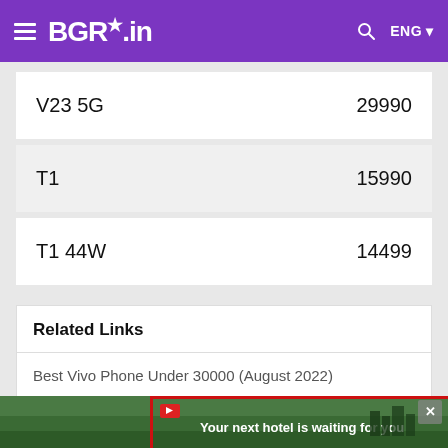BGR.in
| Model | Price |
| --- | --- |
| V23 5G | 29990 |
| T1 | 15990 |
| T1 44W | 14499 |
Related Links
Best Vivo Phone Under 30000 (August 2022)
Best Vivo Phones under 50000 (August 2022)
Best Budget Vivo Phone under 20000 (August 2022)
[Figure (other): Advertisement banner: Your next hotel is waiting for you]